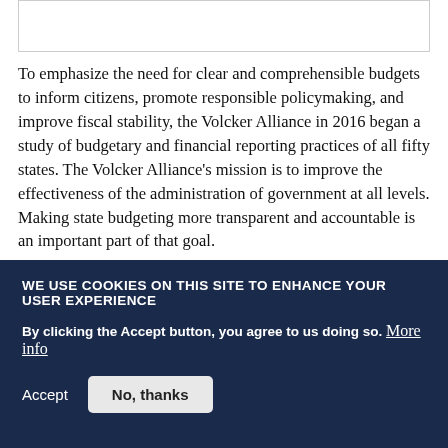To emphasize the need for clear and comprehensible budgets to inform citizens, promote responsible policymaking, and improve fiscal stability, the Volcker Alliance in 2016 began a study of budgetary and financial reporting practices of all fifty states. The Volcker Alliance's mission is to improve the effectiveness of the administration of government at all levels. Making state budgeting more transparent and accountable is an important part of that goal.

The report cards presented here are taken from the
WE USE COOKIES ON THIS SITE TO ENHANCE YOUR USER EXPERIENCE

By clicking the Accept button, you agree to us doing so. More info

Accept   No, thanks